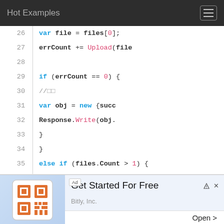Hot Examples
[Figure (screenshot): Code viewer showing lines 26-39 of source code with syntax highlighting. Line 26: var file = files[0]; Line 27: errCount += Upload(file Line 28: (empty) Line 29: if (errCount == 0) { Line 30: //comment Line 31: var obj = new {succ Line 32: Response.Write(obj. Line 33: } Line 34: } Line 35: else if (files.Count > 1) { Line 36: //comment Line 37: (empty) Line 38: for (int i = 0; i < fil Line 39: var file = files[i]]
[Figure (screenshot): Advertisement banner for Bitly Inc. showing Get Started For Free with an image of a QR code device and an Open button.]